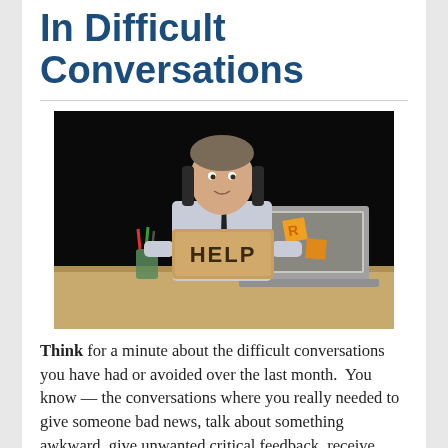In Difficult Conversations
[Figure (photo): A man in a white dress shirt and tie sits at a desk with a laptop, holding up a cardboard sign that reads 'HELP'. The background is dark/black. There are sticky notes on the laptop and office supplies on the desk.]
Think for a minute about the difficult conversations you have had or avoided over the last month.  You know — the conversations where you really needed to give someone bad news, talk about something awkward, give unwanted critical feedback, receive unexpected